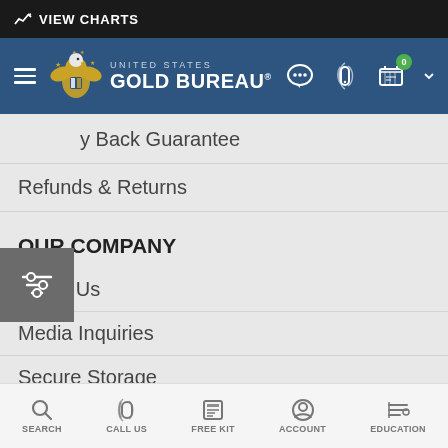VIEW CHARTS
[Figure (screenshot): United States Gold Bureau navigation header with logo, hamburger menu, chat, phone, and cart icons on navy background]
Back Guarantee
Refunds & Returns
OUR COMPANY
About Us
Media Inquiries
Secure Storage
Terms & Conditions
Free Investor Guide
SEARCH  CALL US  FREE KIT  ACCOUNT  EDUCATION